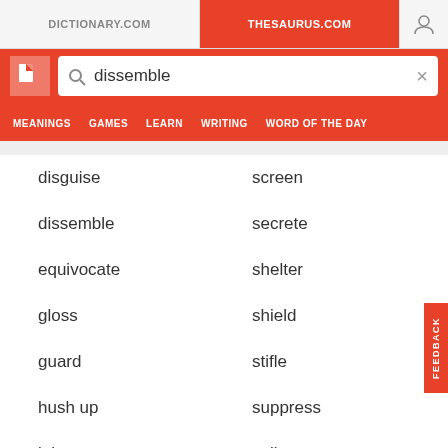DICTIONARY.COM | THESAURUS.COM
dissemble (search query)
MEANINGS | GAMES | LEARN | WRITING | WORD OF THE DAY
disguise
screen
dissemble
secrete
equivocate
shelter
gloss
shield
guard
stifle
hush up
suppress
inhume
veil